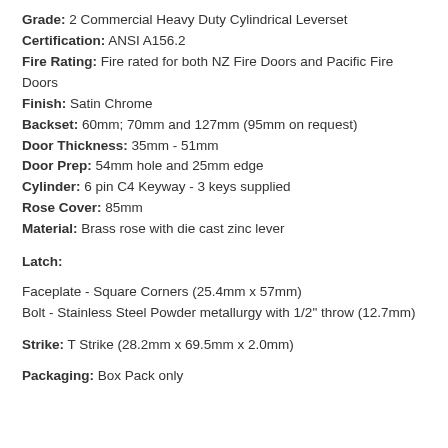Grade: 2 Commercial Heavy Duty Cylindrical Leverset
Certification: ANSI A156.2
Fire Rating: Fire rated for both NZ Fire Doors and Pacific Fire Doors
Finish: Satin Chrome
Backset: 60mm; 70mm and 127mm (95mm on request)
Door Thickness: 35mm - 51mm
Door Prep: 54mm hole and 25mm edge
Cylinder: 6 pin C4 Keyway - 3 keys supplied
Rose Cover: 85mm
Material: Brass rose with die cast zinc lever
Latch:
Faceplate - Square Corners (25.4mm x 57mm)
Bolt - Stainless Steel Powder metallurgy with 1/2" throw (12.7mm)
Strike: T Strike (28.2mm x 69.5mm x 2.0mm)
Packaging: Box Pack only